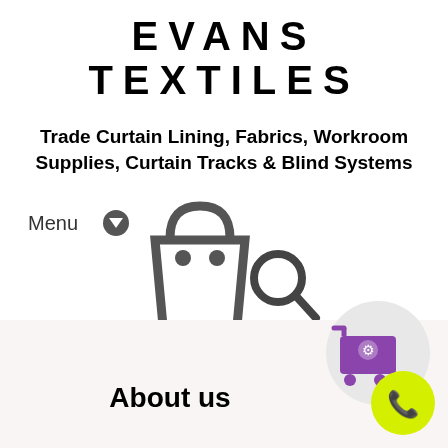EVANS TEXTILES
Trade Curtain Lining, Fabrics, Workroom Supplies, Curtain Tracks & Blind Systems
[Figure (screenshot): Navigation bar with Menu dropdown button, shopping bag icon with 0 badge, and search icon]
[Figure (infographic): Purple shopping cart with gear icon and yellow phone button in bottom right corner]
About us